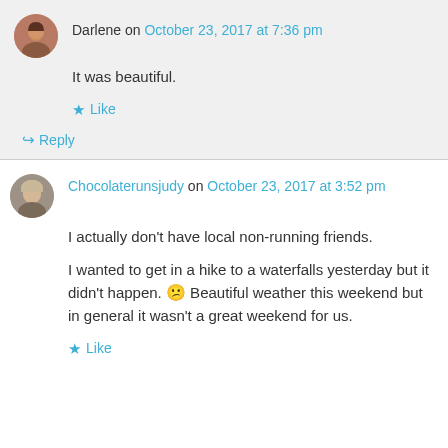Darlene on October 23, 2017 at 7:36 pm
It was beautiful.
★ Like
↪ Reply
Chocolaterunsjudy on October 23, 2017 at 3:52 pm
I actually don't have local non-running friends.
I wanted to get in a hike to a waterfalls yesterday but it didn't happen. 😕 Beautiful weather this weekend but in general it wasn't a great weekend for us.
★ Like